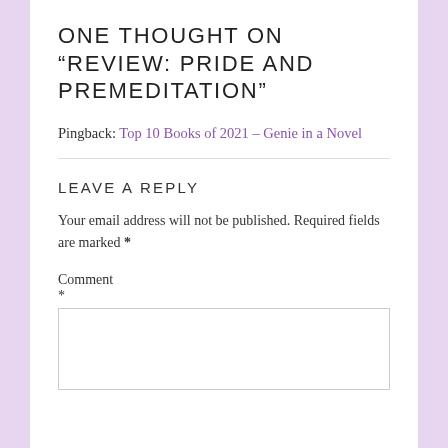ONE THOUGHT ON “REVIEW: PRIDE AND PREMEDITATION”
Pingback: Top 10 Books of 2021 – Genie in a Novel
LEAVE A REPLY
Your email address will not be published. Required fields are marked *
Comment
*